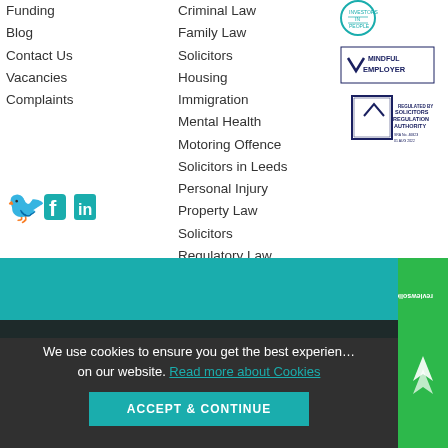Funding
Blog
Contact Us
Vacancies
Complaints
Criminal Law
Family Law Solicitors
Housing
Immigration
Mental Health
Motoring Offence
Solicitors in Leeds
Personal Injury
Property Law Solicitors
Regulatory Law
[Figure (logo): Investors in People logo]
[Figure (logo): Mindful Employer logo]
[Figure (logo): Solicitors Regulation Authority logo]
[Figure (logo): Social media icons: Twitter, Facebook, LinkedIn]
Terms of Use | Privacy Policy
Website created by Visual Archive Leeds
We use cookies to ensure you get the best experience on our website. Read more about Cookies
[Figure (logo): ReviewSolicitors badge]